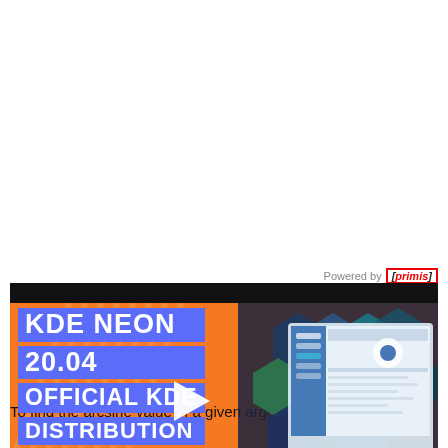[Figure (screenshot): Video thumbnail showing KDE Neon 20.04 Official KDE Distribution with a play button overlay. Orange background with diagonal stripes, blue text boxes showing KDE NEON 20.04 OFFICIAL KDE DISTRIBUTION, and a laptop screenshot on the right side.]
To find the arcsine value of a given argument in